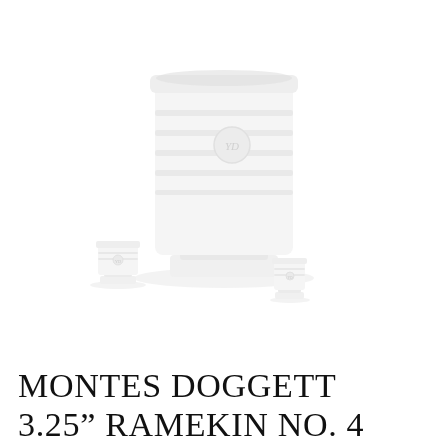[Figure (photo): White ceramic vessel/cup product photo shown at large scale in upper portion, with two smaller versions of the same product shown below at smaller scale. All items are white ceramic on a white background.]
MONTES DOGGETT 3.25" RAMEKIN NO. 4